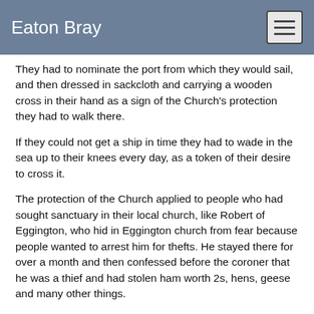Eaton Bray
They had to nominate the port from which they would sail, and then dressed in sackcloth and carrying a wooden cross in their hand as a sign of the Church's protection they had to walk there.
If they could not get a ship in time they had to wade in the sea up to their knees every day, as a token of their desire to cross it.
The protection of the Church applied to people who had sought sanctuary in their local church, like Robert of Eggington, who hid in Eggington church from fear because people wanted to arrest him for thefts. He stayed there for over a month and then confessed before the coroner that he was a thief and had stolen ham worth 2s, hens, geese and many other things.
His possessions worth 2s were confiscated and he was sent to Dover and ordered to take the first ship out and never come back.
Another case, in May 1379, was that of William Palmere of Leighton Buzzard who was outlawed for causing the death of Thomas Wydenhale.
Palmere was arrested and put in the stocks. But he managed to